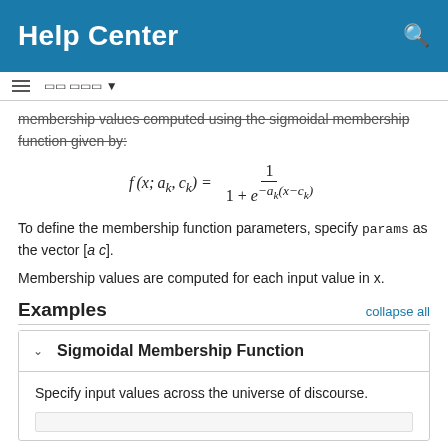Help Center
membership values computed using the sigmoidal membership function given by:
To define the membership function parameters, specify params as the vector [a c].
Membership values are computed for each input value in x.
Examples
Sigmoidal Membership Function
Specify input values across the universe of discourse.